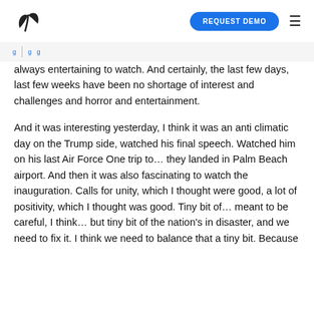REQUEST DEMO
always entertaining to watch. And certainly, the last few days, last few weeks have been no shortage of interest and challenges and horror and entertainment.
And it was interesting yesterday, I think it was an anti climatic day on the Trump side, watched his final speech. Watched him on his last Air Force One trip to… they landed in Palm Beach airport. And then it was also fascinating to watch the inauguration. Calls for unity, which I thought were good, a lot of positivity, which I thought was good. Tiny bit of… meant to be careful, I think… but tiny bit of the nation's in disaster, and we need to fix it. I think we need to balance that a tiny bit. Because